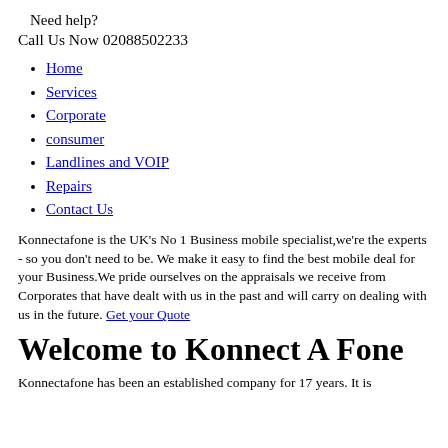Need help?
Call Us Now 02088502233
Home
Services
Corporate
consumer
Landlines and VOIP
Repairs
Contact Us
Konnectafone is the UK's No 1 Business mobile specialist,we're the experts - so you don't need to be. We make it easy to find the best mobile deal for your Business.We pride ourselves on the appraisals we receive from Corporates that have dealt with us in the past and will carry on dealing with us in the future. Get your Quote
Welcome to Konnect A Fone
Konnectafone has been an established company for 17 years. It is